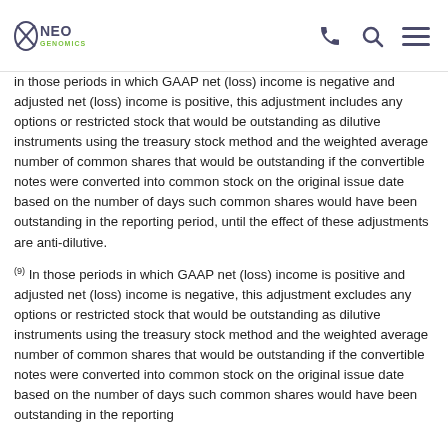NeoGenomics
in those periods in which GAAP net (loss) income is negative and adjusted net (loss) income is positive, this adjustment includes any options or restricted stock that would be outstanding as dilutive instruments using the treasury stock method and the weighted average number of common shares that would be outstanding if the convertible notes were converted into common stock on the original issue date based on the number of days such common shares would have been outstanding in the reporting period, until the effect of these adjustments are anti-dilutive.
(9) In those periods in which GAAP net (loss) income is positive and adjusted net (loss) income is negative, this adjustment excludes any options or restricted stock that would be outstanding as dilutive instruments using the treasury stock method and the weighted average number of common shares that would be outstanding if the convertible notes were converted into common stock on the original issue date based on the number of days such common shares would have been outstanding in the reporting